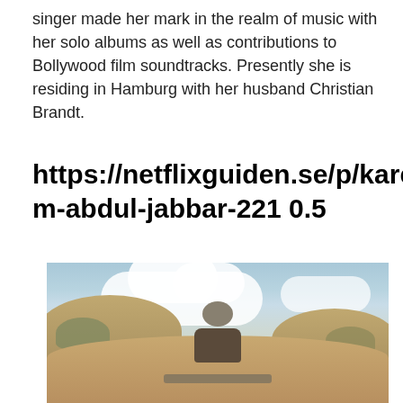singer made her mark in the realm of music with her solo albums as well as contributions to Bollywood film soundtracks. Presently she is residing in Hamburg with her husband Christian Brandt.
https://netflixguiden.se/p/kareem-abdul-jabbar-221 0.5
[Figure (photo): A person with grey hair seen from behind, sitting on a bench in a sandy dune landscape with scrubby vegetation, under a partly cloudy blue sky.]